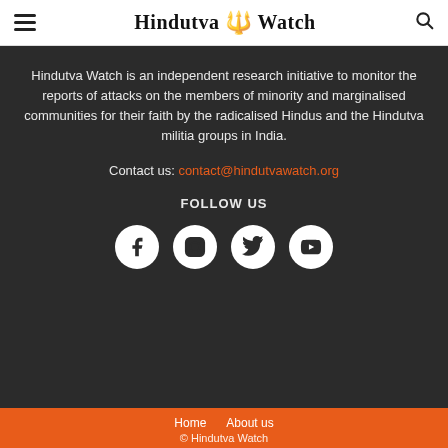Hindutva Watch
Hindutva Watch is an independent research initiative to monitor the reports of attacks on the members of minority and marginalised communities for their faith by the radicalised Hindus and the Hindutva militia groups in India.
Contact us: contact@hindutvawatch.org
FOLLOW US
[Figure (illustration): Four social media icons in white circles: Facebook (f), Instagram (camera), Twitter (bird), YouTube (play button)]
Home   About us
© Hindutva Watch